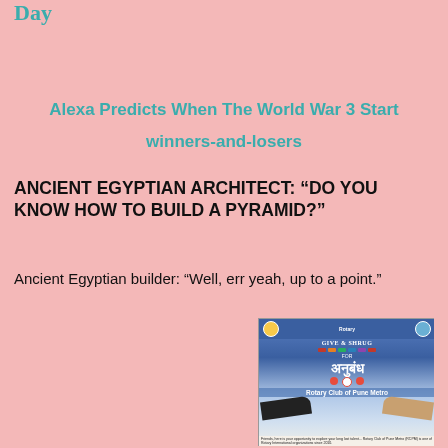Day
Alexa Predicts When The World War 3 Start
winners-and-losers
ANCIENT EGYPTIAN ARCHITECT: “DO YOU KNOW HOW TO BUILD A PYRAMID?”
Ancient Egyptian builder: “Well, err yeah, up to a point.”
[Figure (photo): Photo of a Rotary Club of Pune Metro event flyer for 'Anubandh' with two hands reaching toward each other, logos, and small text descriptions.]